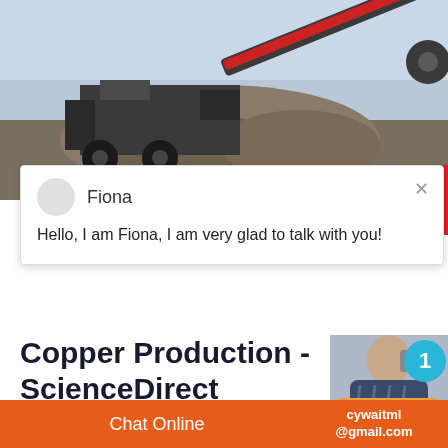[Figure (photo): Large industrial mining/crushing machine with a long conveyor belt, set outdoors with rocks and overcast sky]
Fiona
Hello, I am Fiona, I am very glad to talk with you!
Copper Production - ScienceDirect
2014-1-1   The Mitsubishi continuous cop
[Figure (photo): Person on phone, with notification badge showing '1' and 'Click to chat' button and 'Enquiry' button]
Chat Online   cywaitml @gmail.com